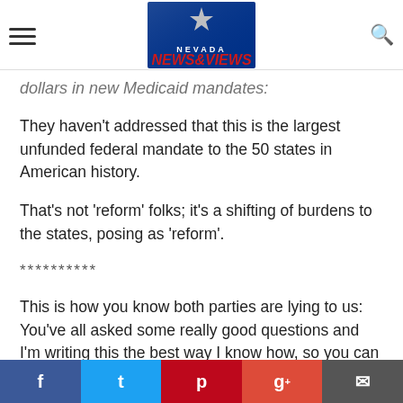Nevada News & Views
dollars in new Medicaid mandates:
They haven't addressed that this is the largest unfunded federal mandate to the 50 states in American history.
That's not 'reform' folks; it's a shifting of burdens to the states, posing as 'reform'.
**********
This is how you know both parties are lying to us: You've all asked some really good questions and I'm writing this the best way I know how, so you can all understand what they're doing and why they're doing it.
The GOP wants insurers to be able to compete in all 50